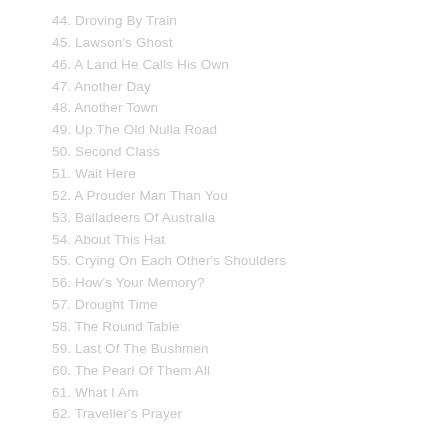44. Droving By Train
45. Lawson's Ghost
46. A Land He Calls His Own
47. Another Day
48. Another Town
49. Up The Old Nulla Road
50. Second Class
51. Wait Here
52. A Prouder Man Than You
53. Balladeers Of Australia
54. About This Hat
55. Crying On Each Other's Shoulders
56. How's Your Memory?
57. Drought Time
58. The Round Table
59. Last Of The Bushmen
60. The Pearl Of Them All
61. What I Am
62. Traveller's Prayer